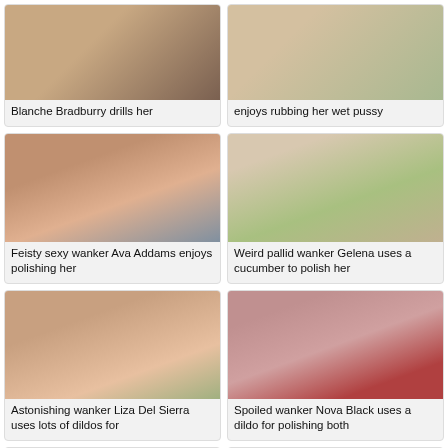[Figure (photo): Partial thumbnail - top left card, partially visible]
Blanche Bradburry drills her
[Figure (photo): Partial thumbnail - top right card, partially visible]
enjoys rubbing her wet pussy
[Figure (photo): Woman with dark hair in pink bikini with toy]
Feisty sexy wanker Ava Addams enjoys polishing her
[Figure (photo): Close-up of hand with long nails and cucumber]
Weird pallid wanker Gelena uses a cucumber to polish her
[Figure (photo): Close-up intimate shot with pink toy]
Astonishing wanker Liza Del Sierra uses lots of dildos for
[Figure (photo): Slim woman on red couch with toy]
Spoiled wanker Nova Black uses a dildo for polishing both
[Figure (photo): Blonde woman partial view - bottom left]
[Figure (photo): Partial intimate shot - bottom right]